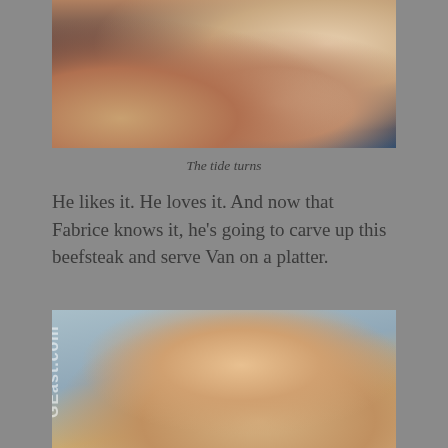[Figure (photo): Close-up photo of legs and hands, appears to be a wrestling or sports scene with blue mat visible]
The tide turns
He likes it. He loves it. And now that Fabrice knows it, he’s going to carve up this beefsteak and serve Van on a platter.
[Figure (photo): Young shirtless man with short hair looking downward, with GEast.com watermark visible]